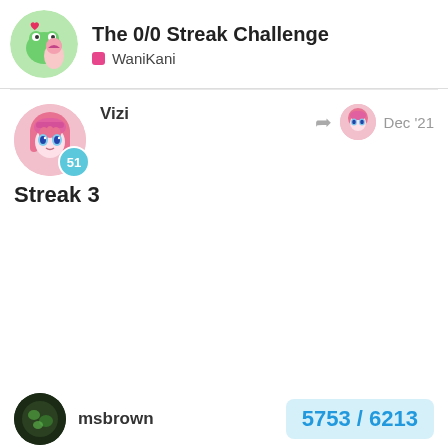The 0/0 Streak Challenge — WaniKani
Vizi — Dec '21
Streak 3
9
msbrown — 5753 / 6213